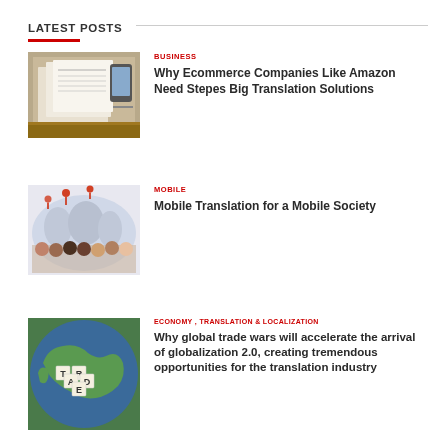LATEST POSTS
[Figure (photo): Photo of stacked/folded paper documents or brochures on a wooden surface]
BUSINESS
Why Ecommerce Companies Like Amazon Need Stepes Big Translation Solutions
[Figure (photo): Group of diverse people holding phones in front of a world map with location pin icons]
MOBILE
Mobile Translation for a Mobile Society
[Figure (photo): Aerial view of a globe/map with letter tiles spelling TRADE]
ECONOMY , TRANSLATION & LOCALIZATION
Why global trade wars will accelerate the arrival of globalization 2.0, creating tremendous opportunities for the translation industry